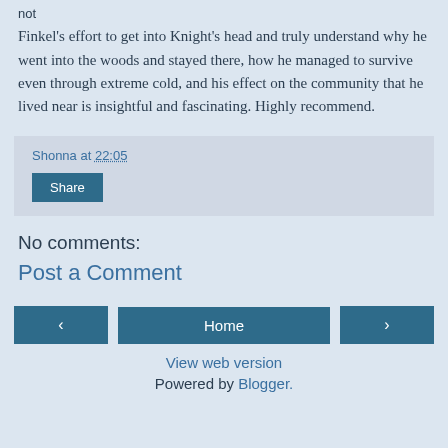Finkel's effort to get into Knight's head and truly understand why he went into the woods and stayed there, how he managed to survive even through extreme cold, and his effect on the community that he lived near is insightful and fascinating. Highly recommend.
Shonna at 22:05
Share
No comments:
Post a Comment
‹
Home
›
View web version
Powered by Blogger.